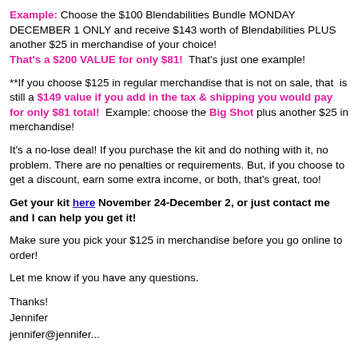Example: Choose the $100 Blendabilities Bundle MONDAY DECEMBER 1 ONLY and receive $143 worth of Blendabilities PLUS another $25 in merchandise of your choice! That's a $200 VALUE for only $81!  That's just one example!
**If you choose $125 in regular merchandise that is not on sale, that  is still a $149 value if you add in the tax & shipping you would pay for only $81 total!  Example: choose the Big Shot plus another $25 in merchandise!
It's a no-lose deal! If you purchase the kit and do nothing with it, no problem. There are no penalties or requirements. But, if you choose to get a discount, earn some extra income, or both, that's great, too!
Get your kit here November 24-December 2, or just contact me and I can help you get it!
Make sure you pick your $125 in merchandise before you go online to order!
Let me know if you have any questions.
Thanks!
Jennifer
jennifer@jennifer...